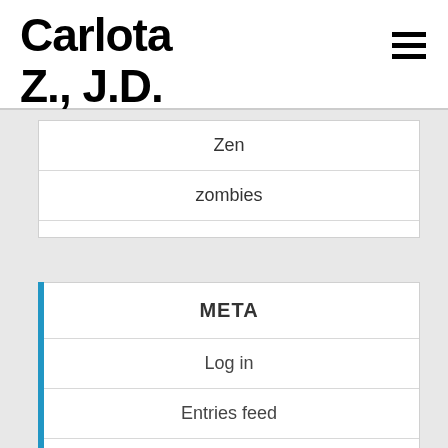Carlota Z., J.D.
Zen
zombies
META
Log in
Entries feed
Comments feed
WordPress.org